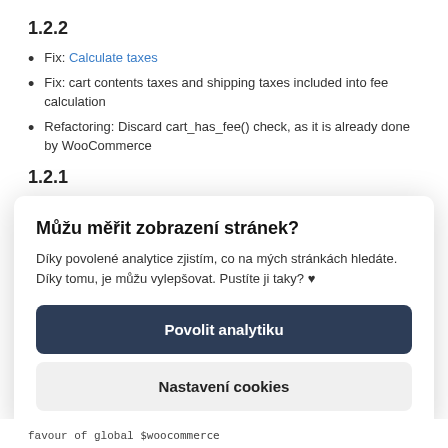1.2.2
Fix: Calculate taxes
Fix: cart contents taxes and shipping taxes included into fee calculation
Refactoring: Discard cart_has_fee() check, as it is already done by WooCommerce
1.2.1
Feature: Calculate custom fee
Můžu měřit zobrazení stránek?
Díky povolené analytice zjistím, co na mých stránkách hledáte. Díky tomu, je můžu vylepšovat. Pustíte ji taky? ♥
Povolit analytiku
Nastavení cookies
favour of global $woocommerce